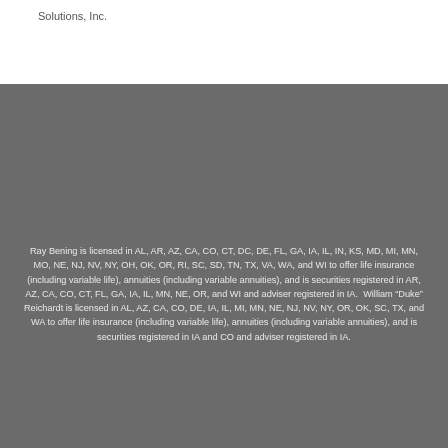Solutions, Inc.
Ray Bening is licensed in AL, AR, AZ, CA, CO, CT, DC, DE, FL, GA, IA, IL, IN, KS, MD, MI, MN, MO, NE, NJ, NV, NY, OH, OK, OR, RI, SC, SD, TN, TX, VA, WA, and WI to offer life insurance (including variable life), annuities (including variable annuities), and is securities registered in AR, AZ, CA, CO, CT, FL, GA, IA, IL, MN, NE, OR, and WI and adviser registered in IA. William “Duke” Reichardt is licensed in AL, AZ, CA, CO, DE, IA, IL, MI, MN, NE, NJ, NV, NY, OR, OK, SC, TX, and WA to offer life insurance (including variable life), annuities (including variable annuities), and is securities registered in IA and CO and adviser registered in IA.